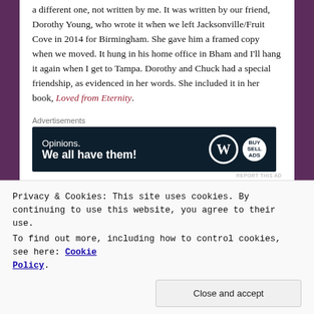a different one, not written by me. It was written by our friend, Dorothy Young, who wrote it when we left Jacksonville/Fruit Cove in 2014 for Birmingham. She gave him a framed copy when we moved. It hung in his home office in Bham and I'll hang it again when I get to Tampa. Dorothy and Chuck had a special friendship, as evidenced in her words. She included it in her book, Loved from Eternity.
[Figure (other): Advertisement banner: dark navy background with text 'Opinions. We all have them!' and WordPress and BuySellAds logos]
On a Friend Moving Away
Privacy & Cookies: This site uses cookies. By continuing to use this website, you agree to their use. To find out more, including how to control cookies, see here: Cookie Policy
Close and accept